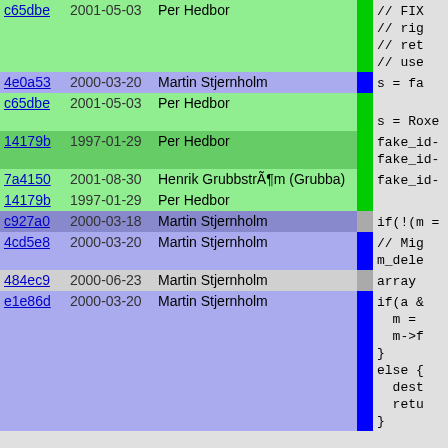| Hash | Date | Author |  | Code |
| --- | --- | --- | --- | --- |
| c65dbe | 2001-05-03 | Per Hedbor |  | // FIX
// rig
// ret
// use |
| 4e0a53 | 2000-03-20 | Martin Stjernholm |  | s = fa |
| c65dbe | 2001-05-03 | Per Hedbor |  | s = Roxe |
| 14179b | 1997-01-29 | Per Hedbor |  | fake_id-
fake_id- |
| 7a4150 | 2001-08-30 | Henrik GrubbstrÃ¶m (Grubba) |  | fake_id- |
| 14179b | 1997-01-29 | Per Hedbor |  |  |
| c927a0 | 2000-03-18 | Martin Stjernholm |  | if(!(m = |
| 4cd5e8 | 2000-03-20 | Martin Stjernholm |  | // Mig
m_dele |
| 484ec9 | 2000-06-23 | Martin Stjernholm |  | array |
| e1e86d | 2000-03-20 | Martin Stjernholm |  | if(a &
  m =
  m->f
}
else {
  dest
  retu
} |